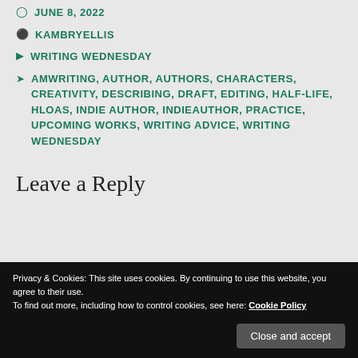JUNE 8, 2022
KAMBRYELLIS
WRITING WEDNESDAY
AMWRITING, AUTHOR, AUTHORS, CHARACTERS, CREATIVITY, DESCRIBING, DRAFT, EDITING, HALF-LIFE, HLOAS, INDIE AUTHOR, INDIEAUTHOR, PRACTICE, UPCOMING WORKS, WRITING ADVICE, WRITING WEDNESDAY
Leave a Reply
Privacy & Cookies: This site uses cookies. By continuing to use this website, you agree to their use.
To find out more, including how to control cookies, see here: Cookie Policy
Close and accept